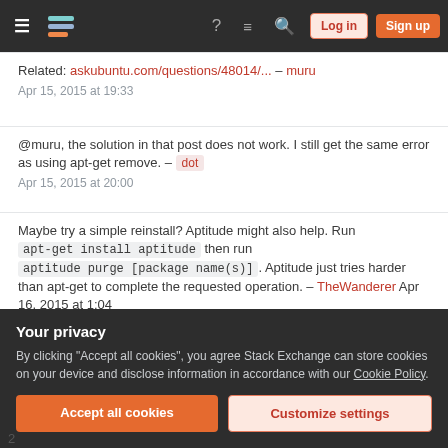Stack Exchange navigation bar with Log in and Sign up buttons
Related: askubuntu.com/questions/48014/... – muru
Apr 15, 2015 at 19:33
@muru, the solution in that post does not work. I still get the same error as using apt-get remove. – dot
Apr 15, 2015 at 20:00
Maybe try a simple reinstall? Aptitude might also help. Run apt-get install aptitude then run aptitude purge [package name(s)]. Aptitude just tries harder than apt-get to complete the requested operation. – TheWanderer Apr 16, 2015 at 1:04
Show 7 more comments
Your privacy
By clicking "Accept all cookies", you agree Stack Exchange can store cookies on your device and disclose information in accordance with our Cookie Policy.